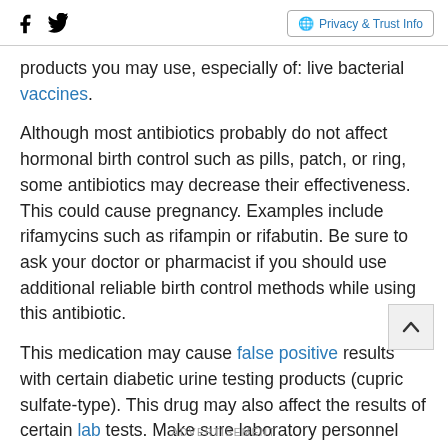Facebook Twitter | Privacy & Trust Info
products you may use, especially of: live bacterial vaccines.
Although most antibiotics probably do not affect hormonal birth control such as pills, patch, or ring, some antibiotics may decrease their effectiveness. This could cause pregnancy. Examples include rifamycins such as rifampin or rifabutin. Be sure to ask your doctor or pharmacist if you should use additional reliable birth control methods while using this antibiotic.
This medication may cause false positive results with certain diabetic urine testing products (cupric sulfate-type). This drug may also affect the results of certain lab tests. Make sure laboratory personnel and your doctors know you use this drug.
ADVERTISEMENT